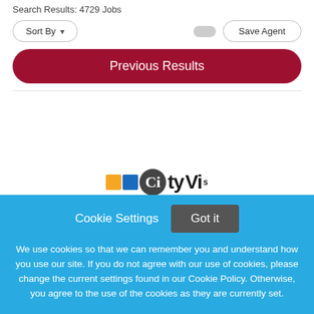Search Results: 4729 Jobs
Sort By | Save Agent
[Figure (screenshot): Previous Results button - dark red/crimson rounded pill button]
[Figure (logo): Partial logo with orange square, blue square, grey circle with letter, and text visible at bottom of white area]
Cookie Settings  Got it
We use cookies so that we can remember you and understand how you use our site. If you do not agree with our use of cookies, please change the current settings found in our Cookie Policy. Otherwise, you agree to the use of the cookies as they are currently set.